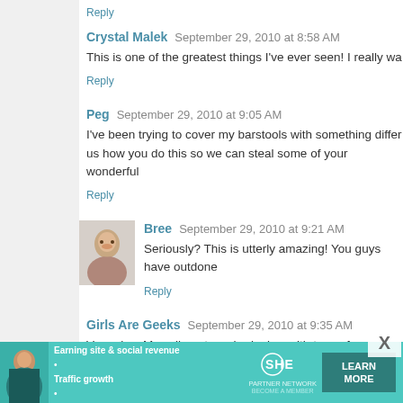Reply
Crystal Malek  September 29, 2010 at 8:58 AM
This is one of the greatest things I've ever seen! I really wa
Reply
Peg  September 29, 2010 at 9:05 AM
I've been trying to cover my barstools with something differ us how you do this so we can steal some of your wonderful
Reply
[Figure (photo): Avatar photo of commenter Bree]
Bree  September 29, 2010 at 9:21 AM
Seriously? This is utterly amazing! You guys have outdone
Reply
Girls Are Geeks  September 29, 2010 at 9:35 AM
Very nice. My college town had a bar with tons of pen real name was The Other Place). Awesome!
[Figure (infographic): SHE Partner Network advertisement banner with text: Earning site & social revenue, Traffic growth, Speaking on our stages, LEARN MORE button]